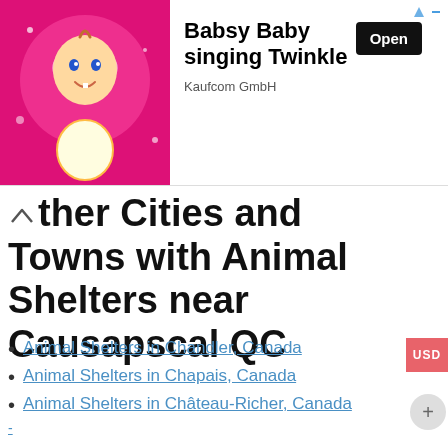[Figure (screenshot): Advertisement banner for Babsy Baby singing Twinkle by Kaufcom GmbH, with animated baby image on pink background, Open button, and corner ad icons]
Other Cities and Towns with Animal Shelters near Causapscal QC
Animal Shelters in Chandler, Canada
Animal Shelters in Chapais, Canada
Animal Shelters in Château-Richer, Canada
-
Tagged Animal Shelter Causapscal QCDog Adoption Causapscal QCHumane Society Causapscal QC
[Figure (logo): Pet logo with red paw prints and red Pet text at bottom of page]